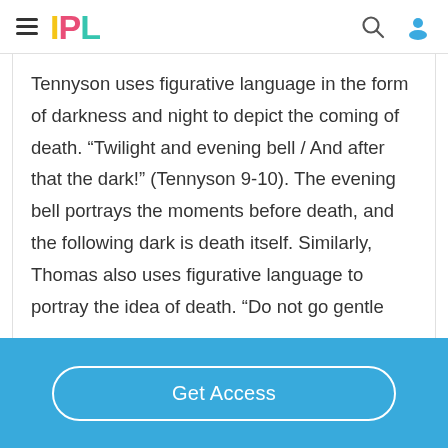IPL
Tennyson uses figurative language in the form of darkness and night to depict the coming of death. “Twilight and evening bell / And after that the dark!” (Tennyson 9-10). The evening bell portrays the moments before death, and the following dark is death itself. Similarly, Thomas also uses figurative language to portray the idea of death. “Do not go gentle
Get Access